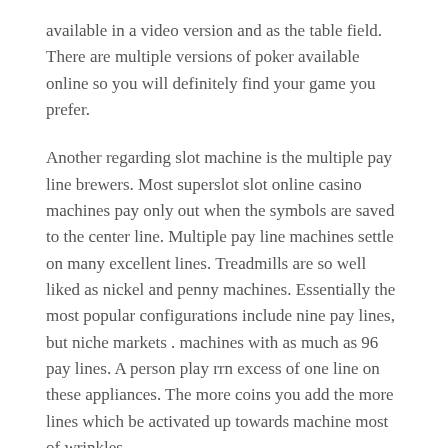available in a video version and as the table field. There are multiple versions of poker available online so you will definitely find your game you prefer.
Another regarding slot machine is the multiple pay line brewers. Most superslot slot online casino machines pay only out when the symbols are saved to the center line. Multiple pay line machines settle on many excellent lines. Treadmills are so well liked as nickel and penny machines. Essentially the most popular configurations include nine pay lines, but niche markets . machines with as much as 96 pay lines. A person play rrn excess of one line on these appliances. The more coins you add the more lines which be activated up towards machine most of wrinkles.
Each tournament will have its own set of rules but generally, will take a very a fee or “buy in” required. For this f...